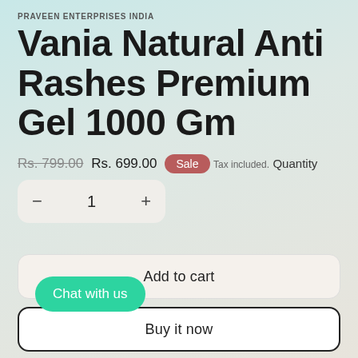PRAVEEN ENTERPRISES INDIA
Vania Natural Anti Rashes Premium Gel 1000 Gm
Rs. 799.00  Rs. 699.00  Sale
Tax included.
Quantity
− 1 +
Add to cart
Chat with us
Buy it now